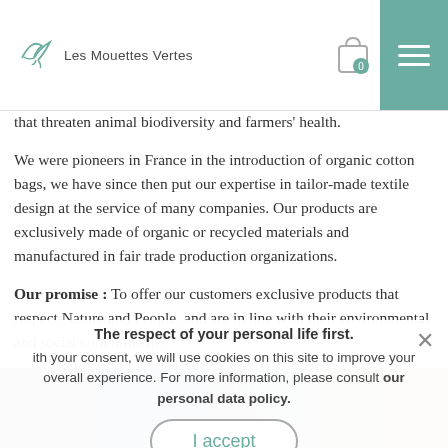[Figure (logo): Les Mouettes Vertes logo with bird sketch and brand name]
that threaten animal biodiversity and farmers' health.
We were pioneers in France in the introduction of organic cotton bags, we have since then put our expertise in tailor-made textile design at the service of many companies. Our products are exclusively made of organic or recycled materials and manufactured in fair trade production organizations.
Our promise :  To offer our customers exclusive products that respect Nature and People, and are in line with their environmental and social commitment.
Our mission : To propose alternatives to plastic, synthetic fibres and disposable.
The respect of your personal life first.
ith your consent, we will use cookies on this site to improve your overall experience. For more information, please consult our personal data policy.
I accept